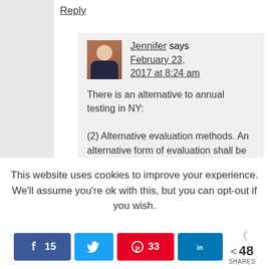Reply
Jennifer says February 23, 2017 at 8:24 am
There is an alternative to annual testing in NY:
(2) Alternative evaluation methods. An alternative form of evaluation shall be
This website uses cookies to improve your experience. We'll assume you're ok with this, but you can opt-out if you wish.
15  33  48 SHARES